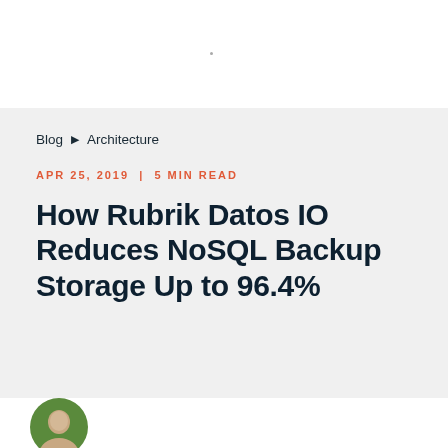Blog ▶ Architecture
APR 25, 2019 | 5 MIN READ
How Rubrik Datos IO Reduces NoSQL Backup Storage Up to 96.4%